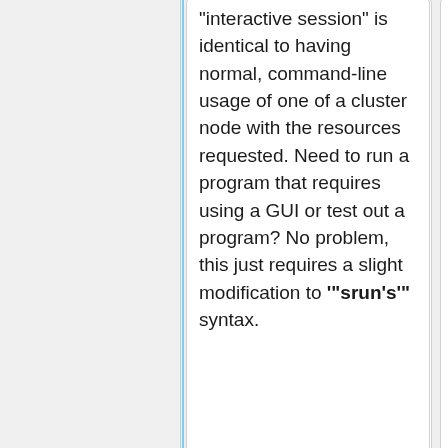"interactive session" is identical to having normal, command-line usage of one of a cluster node with the resources requested. Need to run a program that requires using a GUI or test out a program? No problem, this just requires a slight modification to "'srun's'" syntax.
"interactive session" is identical to having normal, command-line usage of one of a cluster node with the resources requested. Need to run a program that requires using a GUI or test out a program? No problem, this just requires a slight modification to "'srun's'" syntax.
To start an interactive shell,
To start an interactive shell,